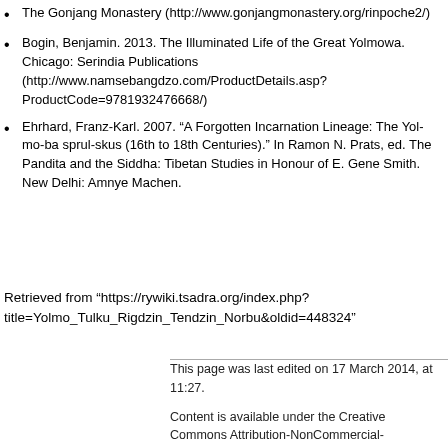The Gonjang Monastery (http://www.gonjangmonastery.org/rinpoche2/)
Bogin, Benjamin. 2013. The Illuminated Life of the Great Yolmowa. Chicago: Serindia Publications (http://www.namsebangdzo.com/ProductDetails.asp?ProductCode=9781932476668/)
Ehrhard, Franz-Karl. 2007. “A Forgotten Incarnation Lineage: The Yol-mo-ba sprul-skus (16th to 18th Centuries).” In Ramon N. Prats, ed. The Pandita and the Siddha: Tibetan Studies in Honour of E. Gene Smith. New Delhi: Amnye Machen.
Retrieved from “https://rywiki.tsadra.org/index.php?title=Yolmo_Tulku_Rigdzin_Tendzin_Norbu&oldid=448324”
This page was last edited on 17 March 2014, at 11:27.
Content is available under the Creative Commons Attribution-NonCommercial-ShareAlike.